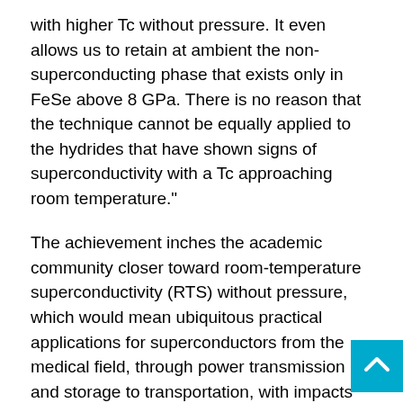with higher Tc without pressure. It even allows us to retain at ambient the non-superconducting phase that exists only in FeSe above 8 GPa. There is no reason that the technique cannot be equally applied to the hydrides that have shown signs of superconductivity with a Tc approaching room temperature."
The achievement inches the academic community closer toward room-temperature superconductivity (RTS) without pressure, which would mean ubiquitous practical applications for superconductors from the medical field, through power transmission and storage to transportation, with impacts whenever electricity is used.
Superconductivity as a means to improve power generation, storage and transmission is not a new idea, but it requires further research and development to become widespread